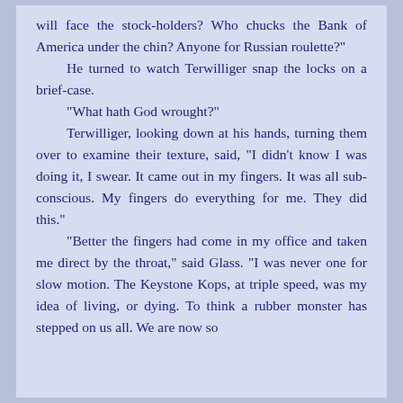will face the stock-holders? Who chucks the Bank of America under the chin? Anyone for Russian roulette?"

He turned to watch Terwilliger snap the locks on a brief-case.

"What hath God wrought?"

Terwilliger, looking down at his hands, turning them over to examine their texture, said, "I didn't know I was doing it, I swear. It came out in my fingers. It was all sub-conscious. My fingers do everything for me. They did this."

"Better the fingers had come in my office and taken me direct by the throat," said Glass. "I was never one for slow motion. The Keystone Kops, at triple speed, was my idea of living, or dying. To think a rubber monster has stepped on us all. We are now so